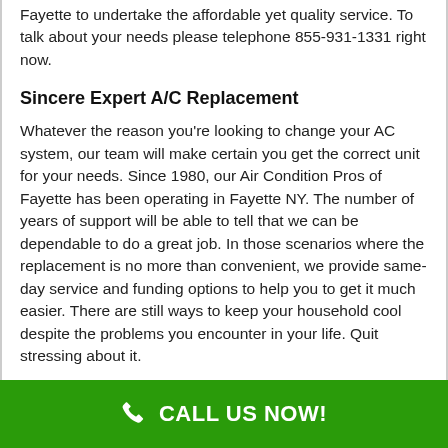Fayette to undertake the affordable yet quality service. To talk about your needs please telephone 855-931-1331 right now.
Sincere Expert A/C Replacement
Whatever the reason you're looking to change your AC system, our team will make certain you get the correct unit for your needs. Since 1980, our Air Condition Pros of Fayette has been operating in Fayette NY. The number of years of support will be able to tell that we can be dependable to do a great job. In those scenarios where the replacement is no more than convenient, we provide same-day service and funding options to help you to get it much easier. There are still ways to keep your household cool despite the problems you encounter in your life. Quit stressing about it.
Local A/C Service
Do you need an expert as service to save the day?
CALL US NOW!